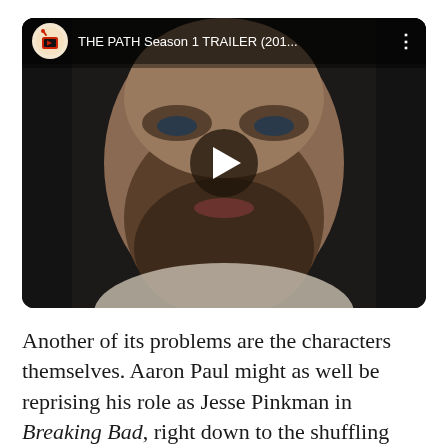[Figure (screenshot): YouTube video thumbnail showing a close-up of a man's face (Aaron Paul) with stubble beard, with a play button overlay in the center. The video title bar at top reads 'THE PATH Season 1 TRAILER (201...' with a YouTube-style logo on the left and a three-dot menu icon on the right.]
Another of its problems are the characters themselves. Aaron Paul might as well be reprising his role as Jesse Pinkman in Breaking Bad, right down to the shuffling gait and slept-in look. Michelle Mon...